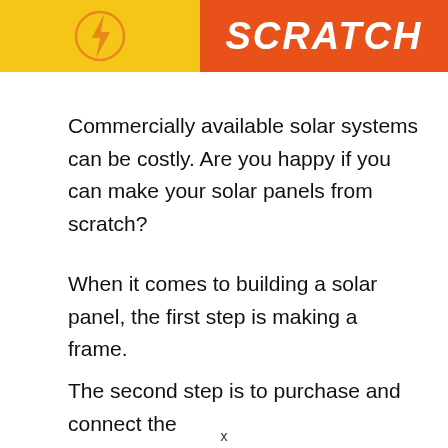[Figure (other): Header banner with yellow section containing a lightning bolt icon in a circle on the left, and an orange section with the word SCRATCH in bold white italic text on the right]
Commercially available solar systems can be costly. Are you happy if you can make your solar panels from scratch?
When it comes to building a solar panel, the first step is making a frame.
The second step is to purchase and connect the